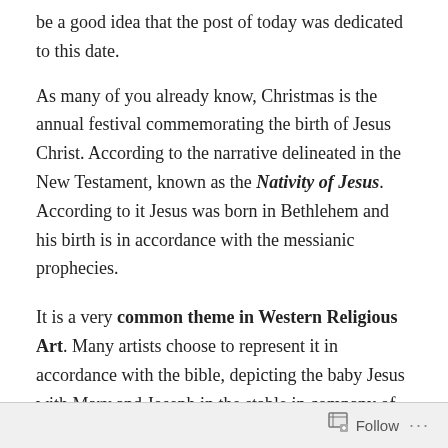be a good idea that the post of today was dedicated to this date.
As many of you already know, Christmas is the annual festival commemorating the birth of Jesus Christ. According to the narrative delineated in the New Testament, known as the Nativity of Jesus. According to it Jesus was born in Bethlehem and his birth is in accordance with the messianic prophecies.
It is a very common theme in Western Religious Art. Many artists choose to represent it in accordance with the bible, depicting the baby Jesus with Mary and Joseph in the stable in company of animals and, sometimes, angels. However, it's less common to see depiction of how people celebrate this moment with their families, and I think that
Follow ···